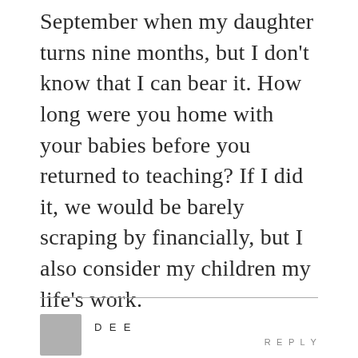September when my daughter turns nine months, but I don't know that I can bear it. How long were you home with your babies before you returned to teaching? If I did it, we would be barely scraping by financially, but I also consider my children my life's work.
DEE
REPLY